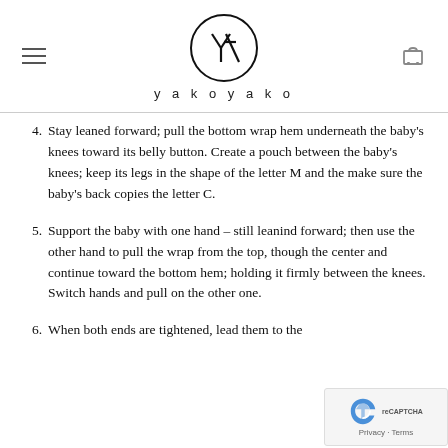yakoyako
4. Stay leaned forward; pull the bottom wrap hem underneath the baby's knees toward its belly button. Create a pouch between the baby's knees; keep its legs in the shape of the letter M and the make sure the baby's back copies the letter C.
5. Support the baby with one hand – still leanind forward; then use the other hand to pull the wrap from the top, though the center and continue toward the bottom hem; holding it firmly between the knees. Switch hands and pull on the other one.
6. When both ends are tightened, lead them to the